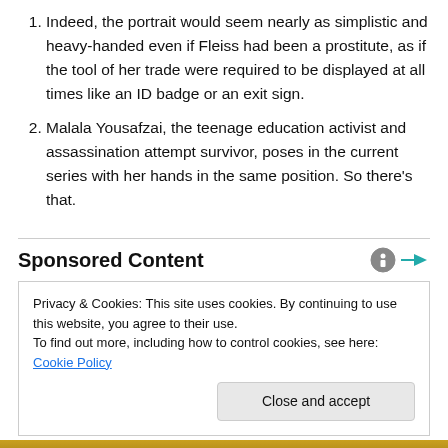Indeed, the portrait would seem nearly as simplistic and heavy-handed even if Fleiss had been a prostitute, as if the tool of her trade were required to be displayed at all times like an ID badge or an exit sign.
Malala Yousafzai, the teenage education activist and assassination attempt survivor, poses in the current series with her hands in the same position. So there’s that.
Sponsored Content
Privacy & Cookies: This site uses cookies. By continuing to use this website, you agree to their use.
To find out more, including how to control cookies, see here: Cookie Policy
[Figure (other): Partial bottom image showing a person wearing yellow/golden clothing, partially visible at bottom of page]